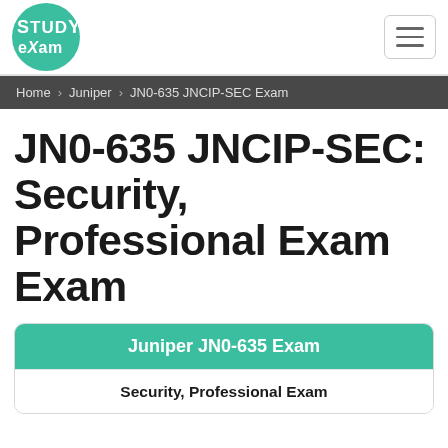[Figure (logo): Study4Exam logo — circular green badge with white text 'Study4Exam']
Home  Juniper  JN0-635 JNCIP-SEC Exam
JN0-635 JNCIP-SEC: Security, Professional Exam Exam
Juniper JN0-635 Exam
Security, Professional Exam